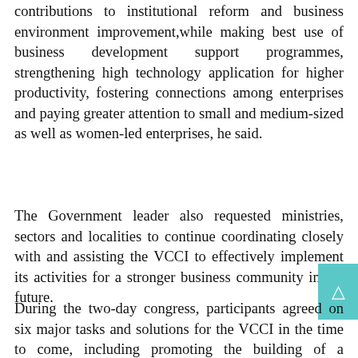contributions to institutional reform and business environment improvement,while making best use of business development support programmes, strengthening high technology application for higher productivity, fostering connections among enterprises and paying greater attention to small and medium-sized as well as women-led enterprises, he said.
The Government leader also requested ministries, sectors and localities to continue coordinating closely with and assisting the VCCI to effectively implement its activities for a stronger business community in the future.
During the two-day congress, participants agreed on six major tasks and solutions for the VCCI in the time to come, including promoting the building of a favourable business environment, pioneering in